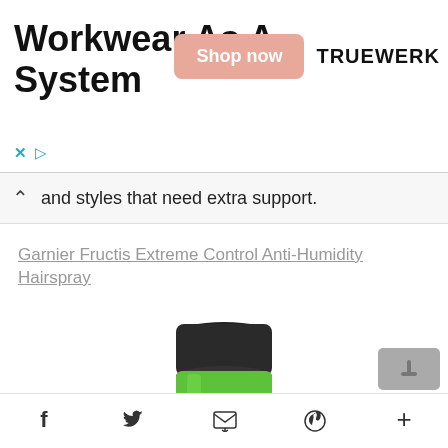[Figure (infographic): Advertisement banner for TRUEWERK brand with title 'Workwear As A System', a salmon/pink 'Shop now' button, and the TRUEWERK logo in bold black text]
and styles that need extra support.
Garnier Fructis Extreme Control Anti-Humidity Hairspray
[Figure (photo): Garnier Fructis Style hairspray can with black cap and bright green body showing GARNIER FRUCTIS STYLE branding]
f  [twitter]  [email]  [pinterest]  +